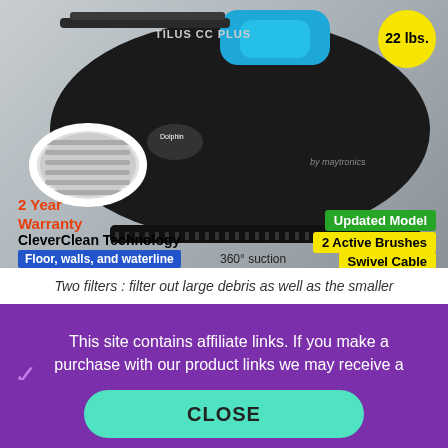[Figure (photo): Dolphin Nautilus CC Plus robotic pool cleaner, black with blue accents, showing brushes and body. Labels: 22 lbs. (yellow circle badge), 2 Year Warranty (orange text), CleverClean Technology, Floor walls and waterline (blue badge), 360° suction, Updated Model (green badge), 2 Active Brushes (yellow badge), Swivel Cable (yellow badge).]
Two filters : filter out large debris as well as the smaller
This site contains affiliate links. If you make a purchase with our product links we may receive a small commission at NO COST TO YOU. (Learn More)
CLOSE